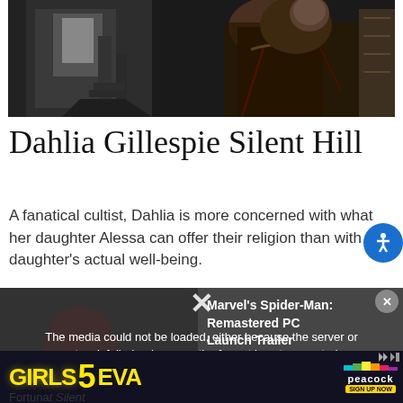[Figure (photo): Screenshot from Silent Hill game showing a dark robed figure in a dimly lit interior setting]
Dahlia Gillespie Silent Hill
A fanatical cultist, Dahlia is more concerned with what her daughter Alessa can offer their religion than with her daughter's actual well-being.
[Figure (screenshot): Video overlay showing Marvel's Spider-Man: Remastered PC Launch Trailer with error message: The media could not be loaded, either because the server or network failed or because the format is not supported.]
to keep her mad plot going.
[Figure (photo): Girls5eva advertisement banner with Peacock streaming service sign up now button]